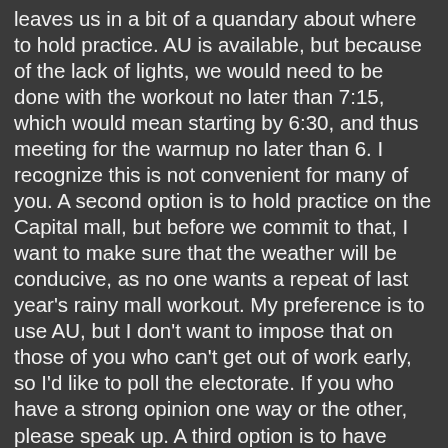leaves us in a bit of a quandary about where to hold practice. AU is available, but because of the lack of lights, we would need to be done with the workout no later than 7:15, which would mean starting by 6:30, and thus meeting for the warmup no later than 6. I recognize this is not convenient for many of you. A second option is to hold practice on the Capital mall, but before we commit to that, I want to make sure that the weather will be conducive, as no one wants a repeat of last year's rainy mall workout. My preference is to use AU, but I don't want to impose that on those of you who can't get out of work early, so I'd like to poll the electorate. If you who have a strong opinion one way or the other, please speak up. A third option is to have some of you do the workout on Tuesday at TC Williams in VA in conjunction with my NOVA practice. We will have at least 4 distinct groups on Wednesday--the men's A and B, and the women's xc and Army 10. If enough of one group want to go on Tuesday at TC Williams (ie a majority of the Army 10 group), that is certainly a viable alternative. Any of you who can't make it Wednesday are welcome to come out on Tuesday and go solo, and I'll hold the watch. Let's try to nail down a plan before Saturday, and we can discuss fallback options.